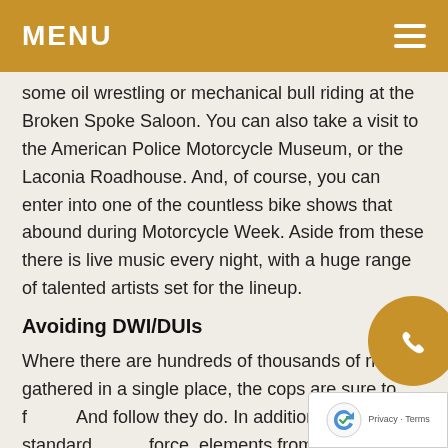MENU
some oil wrestling or mechanical bull riding at the Broken Spoke Saloon. You can also take a visit to the American Police Motorcycle Museum, or the Laconia Roadhouse. And, of course, you can enter into one of the countless bike shows that abound during Motorcycle Week. Aside from these there is live music every night, with a huge range of talented artists set for the lineup.
Avoiding DWI/DUIs
Where there are hundreds of thousands of riders gathered in a single place, the cops are sure to follow. And follow they do. In addition to the standard force, elements from New Hampshire's State T are brought in to help maintain the peace as well. Because of the increased police presence, not to mention t